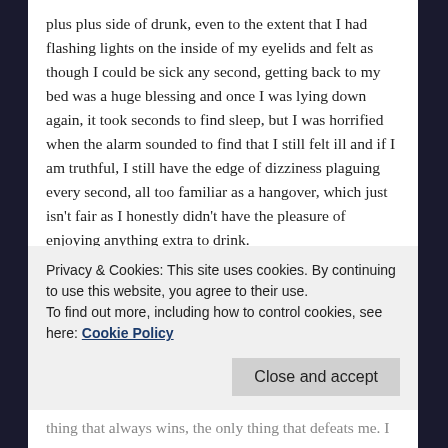plus plus side of drunk, even to the extent that I had flashing lights on the inside of my eyelids and felt as though I could be sick any second, getting back to my bed was a huge blessing and once I was lying down again, it took seconds to find sleep, but I was horrified when the alarm sounded to find that I still felt ill and if I am truthful, I still have the edge of dizziness plaguing every second, all too familiar as a hangover, which just isn't fair as I honestly didn't have the pleasure of enjoying anything extra to drink.
There is a twist to all of this and that is I do know that food can make me feel this way at times, it used to happen a lot but these days it is occasional and I fell right into it's
Privacy & Cookies: This site uses cookies. By continuing to use this website, you agree to their use.
To find out more, including how to control cookies, see here: Cookie Policy
Close and accept
thing that always wins, the only thing that defeats me. I